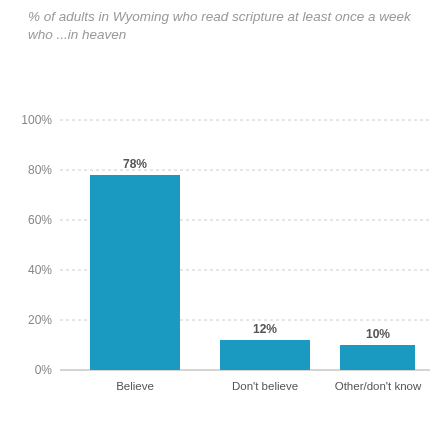% of adults in Wyoming who read scripture at least once a week who ...in heaven
[Figure (bar-chart): % of adults in Wyoming who read scripture at least once a week who ...in heaven]